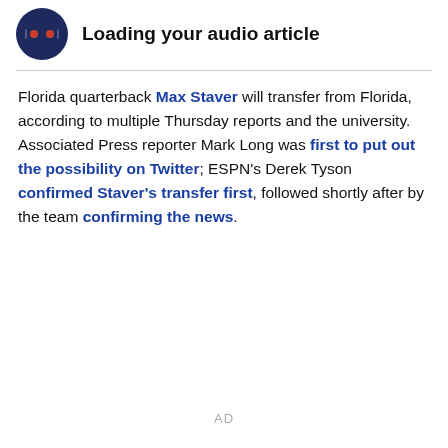[Figure (illustration): Dark navy circular podcast/audio player icon with two orange dots and audio waveform lines, alongside bold text 'Loading your audio article']
Florida quarterback Max Staver will transfer from Florida, according to multiple Thursday reports and the university. Associated Press reporter Mark Long was first to put out the possibility on Twitter; ESPN's Derek Tyson confirmed Staver's transfer first, followed shortly after by the team confirming the news.
AD